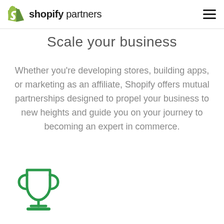shopify partners
Scale your business
Whether you're developing stores, building apps, or marketing as an affiliate, Shopify offers mutual partnerships designed to propel your business to new heights and guide you on your journey to becoming an expert in commerce.
[Figure (illustration): Trophy/cup icon in green outline style, positioned in the bottom-left area of the page]